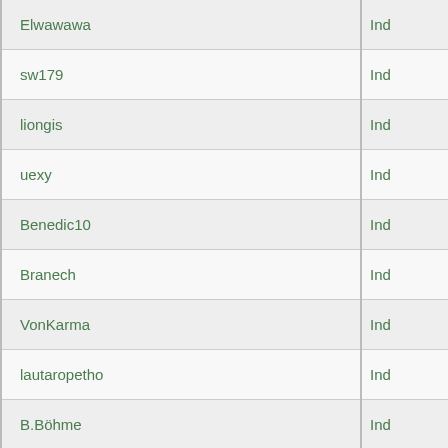| Username | Type |
| --- | --- |
| Elwawawa | Ind |
| sw179 | Ind |
| liongis | Ind |
| uexy | Ind |
| Benedic10 | Ind |
| Branech | Ind |
| VonKarma | Ind |
| lautaropetho | Ind |
| B.Böhme | Ind |